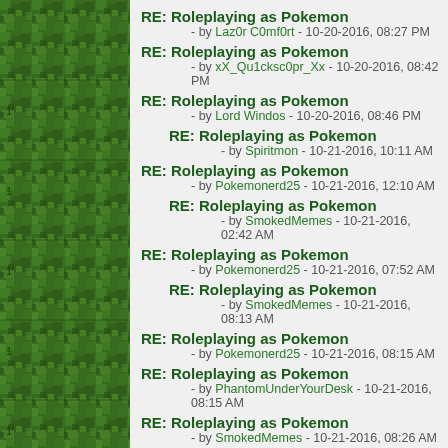[Figure (illustration): Minecraft-style green grass/leaf block texture forming a vertical border on the left side of the page]
RE: Roleplaying as Pokemon - by Laz0r C0mf0rt - 10-20-2016, 08:27 PM
RE: Roleplaying as Pokemon - by xX_Qu1cksc0pr_Xx - 10-20-2016, 08:42 PM
RE: Roleplaying as Pokemon - by Lord Windos - 10-20-2016, 08:46 PM
RE: Roleplaying as Pokemon - by Spiritmon - 10-21-2016, 10:11 AM
RE: Roleplaying as Pokemon - by Pokemonerd25 - 10-21-2016, 12:10 AM
RE: Roleplaying as Pokemon - by SmokedMemes - 10-21-2016, 02:42 AM
RE: Roleplaying as Pokemon - by Pokemonerd25 - 10-21-2016, 07:52 AM
RE: Roleplaying as Pokemon - by SmokedMemes - 10-21-2016, 08:13 AM
RE: Roleplaying as Pokemon - by Pokemonerd25 - 10-21-2016, 08:15 AM
RE: Roleplaying as Pokemon - by PhantomUnderYourDesk - 10-21-2016, 08:15 AM
RE: Roleplaying as Pokemon - by SmokedMemes - 10-21-2016, 08:26 AM
RE: Roleplaying as Pokemon - by Pokemonerd25 - 10-21-2016, 10:07 AM
RE: Roleplaying as Pokemon - by PhantomUnderYourDesk - 10-21-2016, 10:15 AM
RE: Roleplaying as Pokemon